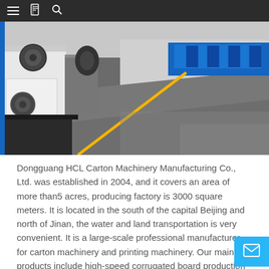Navigation bar with menu, book, and search icons
[Figure (photo): Interior of a manufacturing factory floor showing industrial machinery (white and dark units with circular components) on the left side, with a yellow safety line painted on a gray concrete floor extending into the background. Blue equipment is visible in the far background.]
Dongguang HCL Carton Machinery Manufacturing Co., Ltd. was established in 2004, and it covers an area of more than5 acres, producing factory is 3000 square meters. It is located in the south of the capital Beijing and north of Jinan, the water and land transportation is very convenient. It is a large-scale professional manufacturer for carton machinery and printing machinery. Our main products include high-speed corrugated board production lines (three, five, seven), single-sided corrugated board production lines, printing equipment, etc.